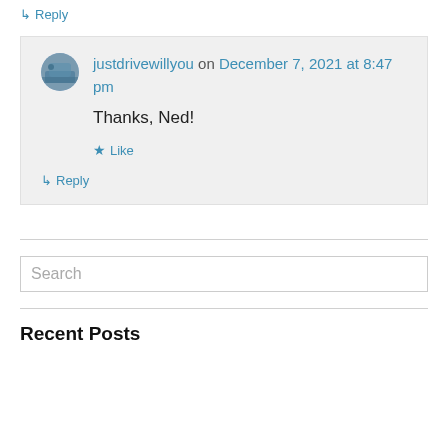↳ Reply
justdrivewillyou on December 7, 2021 at 8:47 pm
Thanks, Ned!
★ Like
↳ Reply
Search
Recent Posts